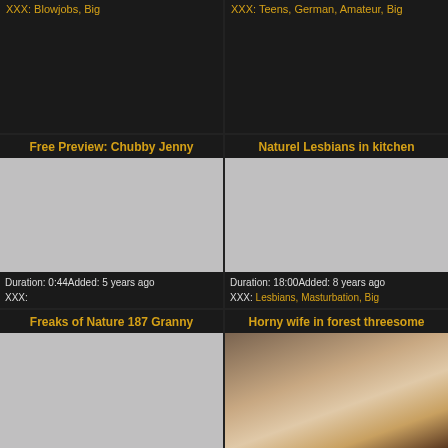XXX: Blowjobs, Big
XXX: Teens, German, Amateur, Big
Free Preview: Chubby Jenny
Naturel Lesbians in kitchen
[Figure (photo): Gray placeholder thumbnail]
[Figure (photo): Gray placeholder thumbnail]
Duration: 0:44Added: 5 years ago XXX:
Duration: 18:00Added: 8 years ago XXX: Lesbians, Masturbation, Big
Freaks of Nature 187 Granny
Horny wife in forest threesome
[Figure (photo): Gray placeholder thumbnail]
[Figure (photo): Photo of a hand touching skin]